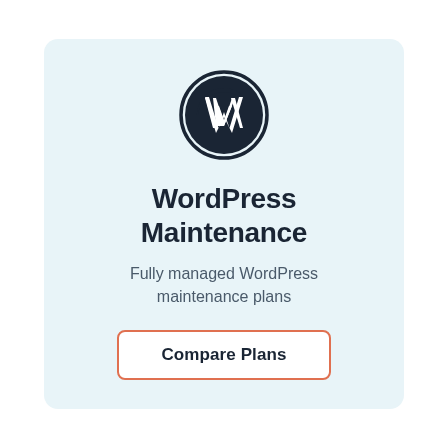[Figure (logo): WordPress logo: dark navy W letter inside a circle with outer ring]
WordPress Maintenance
Fully managed WordPress maintenance plans
Compare Plans